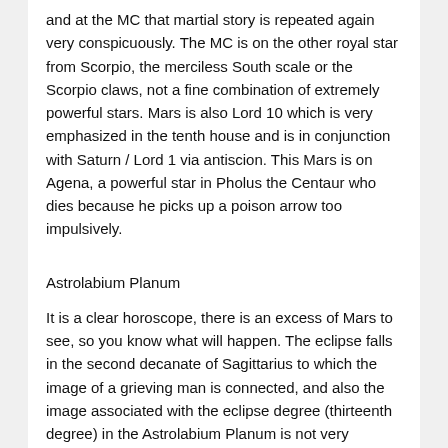and at the MC that martial story is repeated again very conspicuously. The MC is on the other royal star from Scorpio, the merciless South scale or the Scorpio claws, not a fine combination of extremely powerful stars. Mars is also Lord 10 which is very emphasized in the tenth house and is in conjunction with Saturn / Lord 1 via antiscion. This Mars is on Agena, a powerful star in Pholus the Centaur who dies because he picks up a poison arrow too impulsively.
Astrolabium Planum
It is a clear horoscope, there is an excess of Mars to see, so you know what will happen. The eclipse falls in the second decanate of Sagittarius to which the image of a grieving man is connected, and also the image associated with the eclipse degree (thirteenth degree) in the Astrolabium Planum is not very encouraging, it describes a conquered, handcuffed figure. Not only can you clearly see when something is going to happen based on eclipse horoscopes, you can also see the myth that is going to be